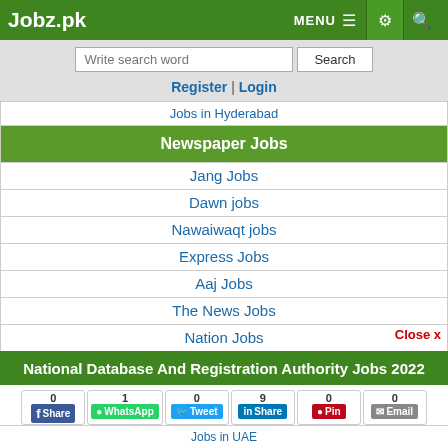Jobz.pk | MENU | Settings | Search
Write search word | Search
Register | Login
Jobs in Hyderabad
Newspaper Jobs
Jang Jobs
Dawn jobs
Nawaiwaqt jobs
Express Jobs
Aaj Jobs
The News Jobs
Nation Jobs
Close x
National Database And Registration Authority Jobs 2022
0 Share | 1 WhatsApp | 0 Tweet | 9 Share | 0 Pin | 0 Email
Job Closed | Form | Save | Comment | Print
Jobs in UAE